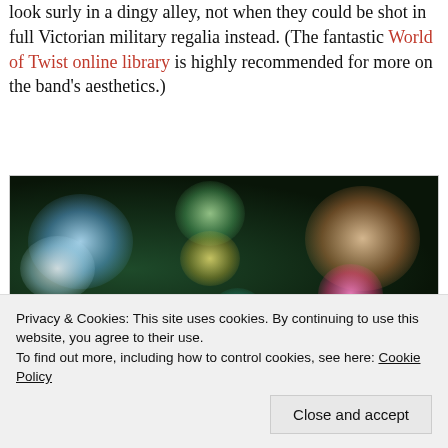look surly in a dingy alley, not when they could be shot in full Victorian military regalia instead. (The fantastic World of Twist online library is highly recommended for more on the band's aesthetics.)
[Figure (photo): Band photo with colorful light projections on faces against a dark green background. Three faces visible with multicolored blobs of light — blue, green, pink, yellow — projected onto them.]
Privacy & Cookies: This site uses cookies. By continuing to use this website, you agree to their use.
To find out more, including how to control cookies, see here: Cookie Policy